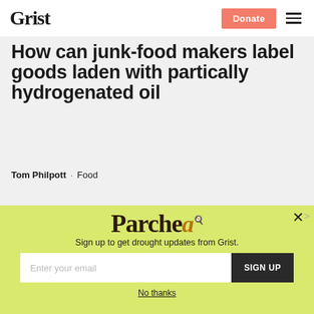Grist | Donate
How can junk-food makers label goods laden with partically hydrogenated oil
Tom Philpott · Food
[Figure (other): Parchea newsletter popup overlay with yellow-green background, email signup form with 'Sign up to get drought updates from Grist.' text, email input field, SIGN UP button, and No thanks link]
Sign up to get drought updates from Grist.
Enter your email
SIGN UP
No thanks